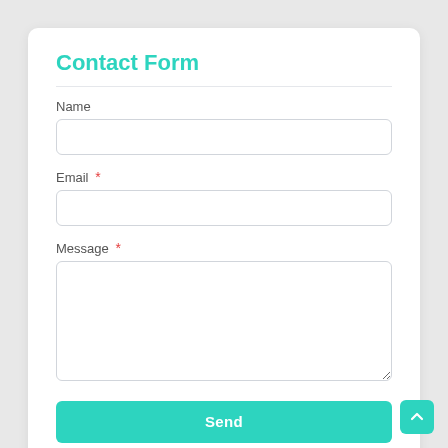Contact Form
Name
Email *
Message *
Send